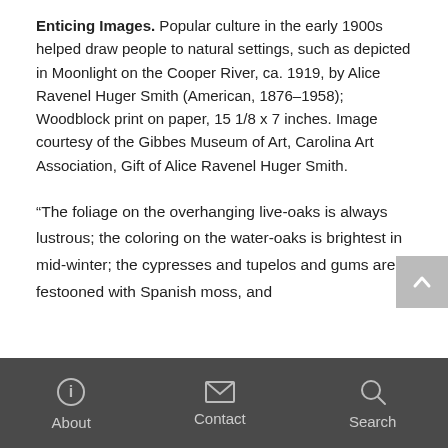Enticing Images. Popular culture in the early 1900s helped draw people to natural settings, such as depicted in Moonlight on the Cooper River, ca. 1919, by Alice Ravenel Huger Smith (American, 1876–1958); Woodblock print on paper, 15 1/8 x 7 inches. Image courtesy of the Gibbes Museum of Art, Carolina Art Association, Gift of Alice Ravenel Huger Smith.
“The foliage on the overhanging live-oaks is always lustrous; the coloring on the water-oaks is brightest in mid-winter; the cypresses and tupelos and gums are festooned with Spanish moss, and
About   Contact   Search